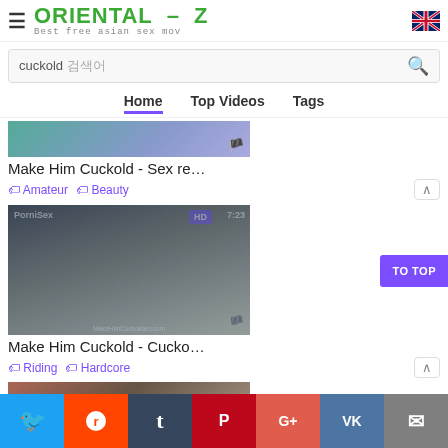ORIENTAL-Z — Best free asian sex mov
cuckold 검색어
Home | Top Videos | Tags
Make Him Cuckold - Sex re…
Amateur  Beauty
[Figure (screenshot): Video thumbnail for Make Him Cuckold - Cucko… with HD badge, duration 7:23, site label PorniSex]
Make Him Cuckold - Cucko…
Riding  Hardcore
Twitter | Reddit | Tumblr | Pinterest | Google+ | VK | Email — social share bar